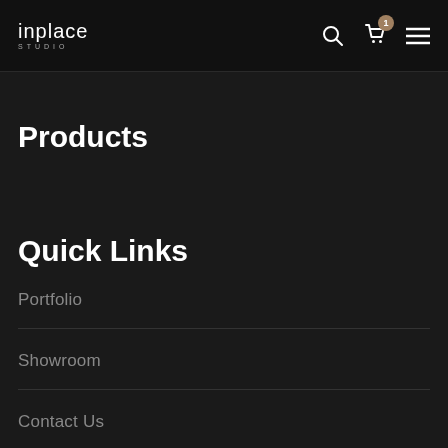inplace studio — navigation header with search, cart (1), and menu icons
Products
Quick Links
Portfolio
Showroom
Contact Us